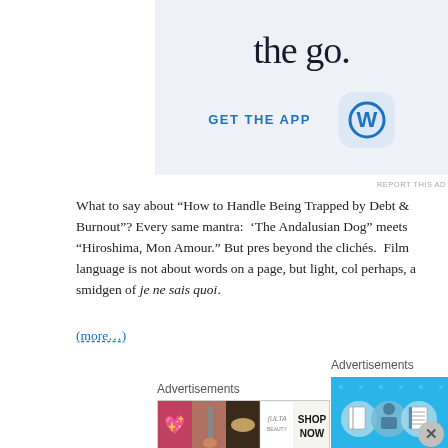[Figure (screenshot): WordPress 'GET THE APP' advertisement banner with blue WordPress W logo icon on light blue/grey background, text 'the go.' visible at top]
REPORT THIS AD
What to say about “How to Handle Being Trapped by Debt & Burnout”? Every same mantra: ‘The Andalusian Dog” meets “Hiroshima, Mon Amour.” But pres beyond the clichés. Film language is not about words on a page, but light, col perhaps, a smidgen of je ne sais quoi.
(more…)
Advertisements
[Figure (screenshot): Blue advertisement banner with illustrated icons of notebooks and a person]
Advertisements
[Figure (screenshot): Beauty/cosmetics advertisement showing makeup images and ULTA logo with SHOP NOW button]